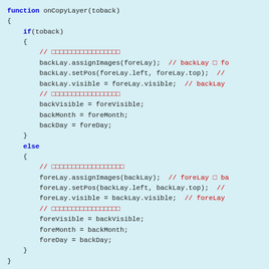function onCopyLayer(toback)
{
    if(toback)
    {
        // □□□□□□□□□□□□□□□□□
        backLay.assignImages(foreLay);  // backLay □ fo
        backLay.setPos(foreLay.left, foreLay.top);  //
        backLay.visible = foreLay.visible;  // backLay
        // □□□□□□□□□□□□□□□□□
        backVisible = foreVisible;
        backMonth = foreMonth;
        backDay = foreDay;
    }
    else
    {
        // □□□□□□□□□□□□□□□□□□
        foreLay.assignImages(backLay);  // foreLay □ ba
        foreLay.setPos(backLay.left, backLay.top);  //
        foreLay.visible = backLay.visible;  // foreLay
        // □□□□□□□□□□□□□□□□□
        foreVisible = backVisible;
        foreMonth = backMonth;
        foreDay = backDay;
    }
}